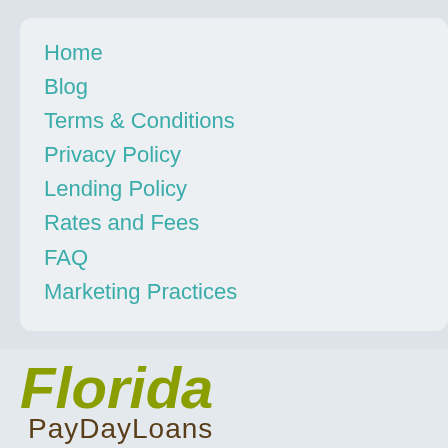Home
Blog
Terms & Conditions
Privacy Policy
Lending Policy
Rates and Fees
FAQ
Marketing Practices
[Figure (logo): Florida PayDayLoans logo with 'Florida' in olive/yellow-green italic text and 'PayDayLoans' in brown text below]
[Figure (logo): MyCashFirst logo with 'MY' in white on orange-brown rounded square and 'CA$HFIRST' in blue and red text]